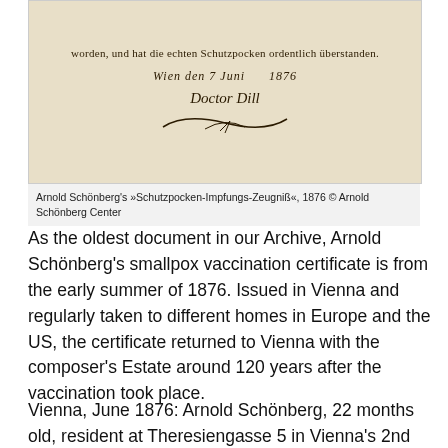[Figure (photo): Scanned historical document (vaccination certificate) with handwritten German text, date 'Wien den 7 Juni 1876', and a cursive signature 'Doctor Dill' with a decorative flourish. Aged paper with visible fold lines.]
Arnold Schönberg's »Schutzpocken-Impfungs-Zeugniß«, 1876 © Arnold Schönberg Center
As the oldest document in our Archive, Arnold Schönberg's smallpox vaccination certificate is from the early summer of 1876. Issued in Vienna and regularly taken to different homes in Europe and the US, the certificate returned to Vienna with the composer's Estate around 120 years after the vaccination took place.
Vienna, June 1876: Arnold Schönberg, 22 months old, resident at Theresiengasse 5 in Vienna's 2nd district